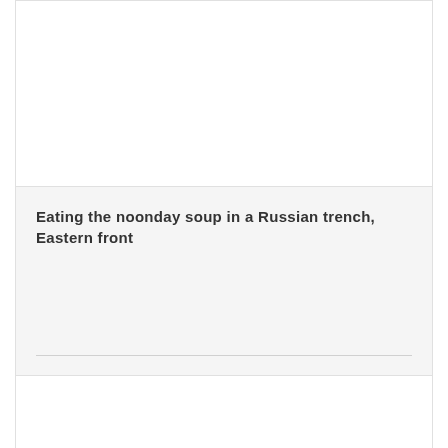[Figure (photo): White rectangular image area at the top of the card (photo placeholder/cropped image area)]
Eating the noonday soup in a Russian trench, Eastern front
View Details
No Comments
[Figure (photo): Bottom card image area (partially visible at bottom of page)]